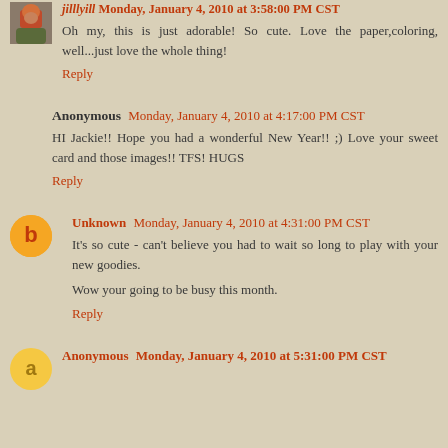jilllyill Monday, January 4, 2010 at 3:58:00 PM CST
Oh my, this is just adorable! So cute. Love the paper,coloring, well...just love the whole thing!
Reply
Anonymous Monday, January 4, 2010 at 4:17:00 PM CST
HI Jackie!! Hope you had a wonderful New Year!! ;) Love your sweet card and those images!! TFS! HUGS
Reply
Unknown Monday, January 4, 2010 at 4:31:00 PM CST
It's so cute - can't believe you had to wait so long to play with your new goodies.
Wow your going to be busy this month.
Reply
Anonymous Monday, January 4, 2010 at 5:31:00 PM CST